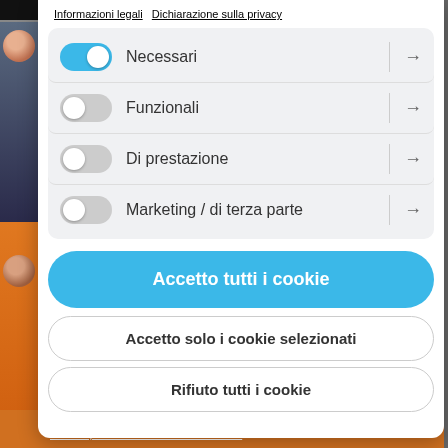Informazioni legali   Dichiarazione sulla privacy
Necessari (toggle on)
Funzionali (toggle off)
Di prestazione (toggle off)
Marketing / di terza parte (toggle off)
Accetto tutti i cookie
Accetto solo i cookie selezionati
Rifiuto tutti i cookie
Sono sempre molto lento ad afferrare il concetto